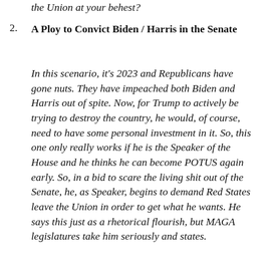the Union at your behest?
A Ploy to Convict Biden / Harris in the Senate
In this scenario, it's 2023 and Republicans have gone nuts. They have impeached both Biden and Harris out of spite. Now, for Trump to actively be trying to destroy the country, he would, of course, need to have some personal investment in it. So, this one only really works if he is the Speaker of the House and he thinks he can become POTUS again early. So, in a bid to scare the living shit out of the Senate, he, as Speaker, begins to demand Red States leave the Union in order to get what he wants. He says this just as a rhetorical flourish, but MAGA legislatures take him seriously and states.